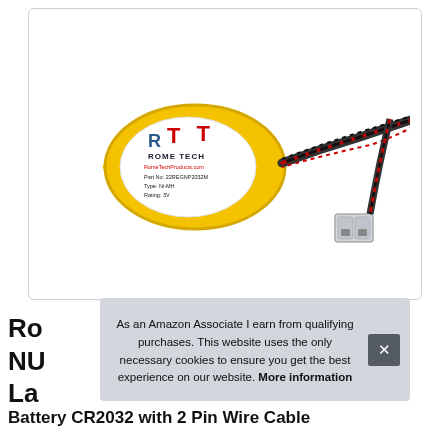[Figure (photo): Product photo of a Rome Tech yellow NiMH CMOS battery (coin cell type) labeled Part No. 22REGNP2032M, Type: Ni-MH, Rating: 3V, with a braided black and red wire cable ending in a white 2-pin connector.]
Ro
NU
La
As an Amazon Associate I earn from qualifying purchases. This website uses the only necessary cookies to ensure you get the best experience on our website. More information
Battery CR2032 with 2 Pin Wire Cable